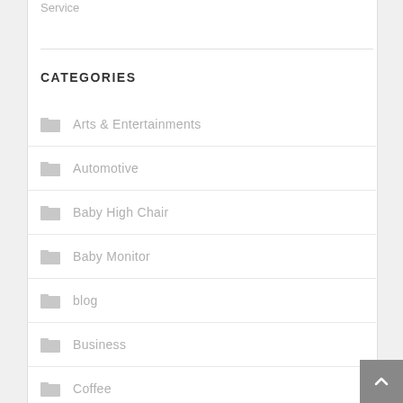Service
CATEGORIES
Arts & Entertainments
Automotive
Baby High Chair
Baby Monitor
blog
Business
Coffee
data entry